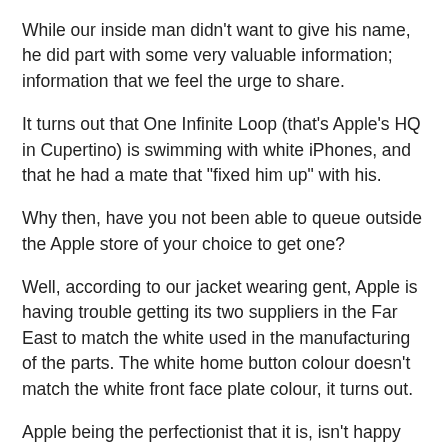While our inside man didn't want to give his name, he did part with some very valuable information; information that we feel the urge to share.
It turns out that One Infinite Loop (that's Apple's HQ in Cupertino) is swimming with white iPhones, and that he had a mate that "fixed him up" with his.
Why then, have you not been able to queue outside the Apple store of your choice to get one?
Well, according to our jacket wearing gent, Apple is having trouble getting its two suppliers in the Far East to match the white used in the manufacturing of the parts. The white home button colour doesn't match the white front face plate colour, it turns out.
Apple being the perfectionist that it is, isn't happy with this and therefore isn't happy to sell it to the general public, supposedly.
So there you have it. If our man is to be believed, and he